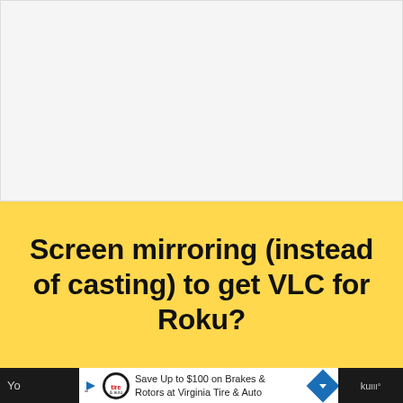[Figure (other): Light gray blank rectangular area at the top of the page, likely a placeholder image area]
Screen mirroring (instead of casting) to get VLC for Roku?
[Figure (other): Dark bottom bar with partial text and an advertisement banner for Virginia Tire & Auto offering up to $100 savings on brakes and rotors]